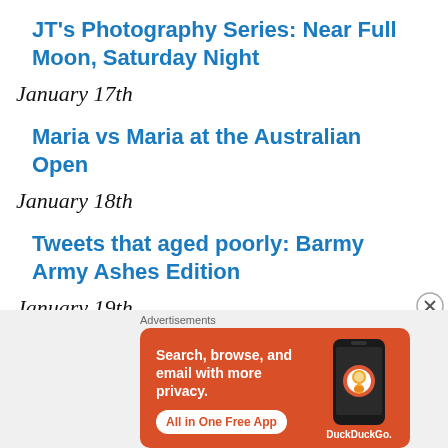JT's Photography Series: Near Full Moon, Saturday Night
January 17th
Maria vs Maria at the Australian Open
January 18th
Tweets that aged poorly: Barmy Army Ashes Edition
January 19th (truncated)
Advertisements
[Figure (screenshot): DuckDuckGo advertisement banner: orange background with white text 'Search, browse, and email with more privacy. All in One Free App' and a phone image with DuckDuckGo logo.]